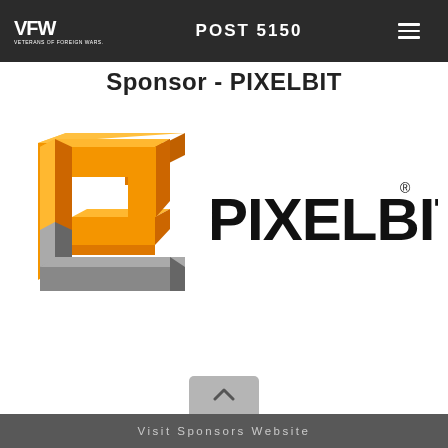VFW POST 5150
Sponsor - PIXELBIT
[Figure (logo): Pixelbit company logo featuring a 3D geometric 'P' shape in orange and grey tones on the left, and bold sans-serif text 'PIXELBIT' with a registered trademark symbol on the right]
Visit Sponsors Website